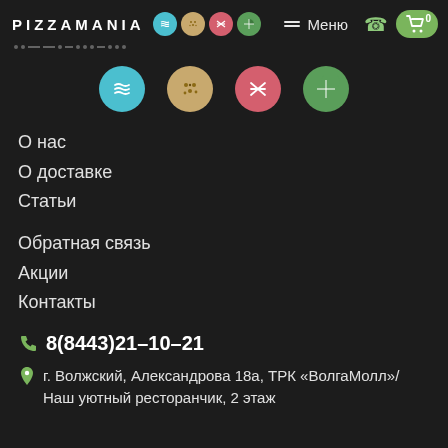PIZZAMANIA — Меню navigation header with cart (0)
[Figure (logo): PIZZAMANIA logo text with small category icons (blue waves, tan dots, pink stripes, green leaf)]
[Figure (illustration): Decorative dots and dashes divider row]
[Figure (illustration): Four category icons: blue wavy circle, tan dotted circle, pink striped circle, green leaf-quarter circle]
О нас
О доставке
Статьи
Обратная связь
Акции
Контакты
8(8443)21–10–21
г. Волжский, Александрова 18а, ТРК «ВолгаМолл»/ Наш уютный ресторанчик, 2 этаж